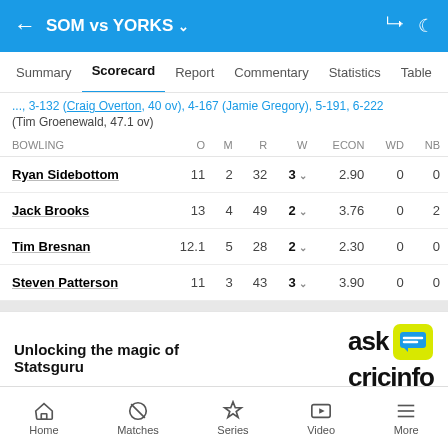SOM vs YORKS
Summary  Scorecard  Report  Commentary  Statistics  Table
(Tim Groenewald, 47.1 ov)
| BOWLING | O | M | R | W | ECON | WD | NB |
| --- | --- | --- | --- | --- | --- | --- | --- |
| Ryan Sidebottom | 11 | 2 | 32 | 3 | 2.90 | 0 | 0 |
| Jack Brooks | 13 | 4 | 49 | 2 | 3.76 | 0 | 2 |
| Tim Bresnan | 12.1 | 5 | 28 | 2 | 2.30 | 0 | 0 |
| Steven Patterson | 11 | 3 | 43 | 3 | 3.90 | 0 | 0 |
[Figure (logo): ask cricinfo logo with yellow speech bubble icon]
Unlocking the magic of Statsguru
Home  Matches  Series  Video  More